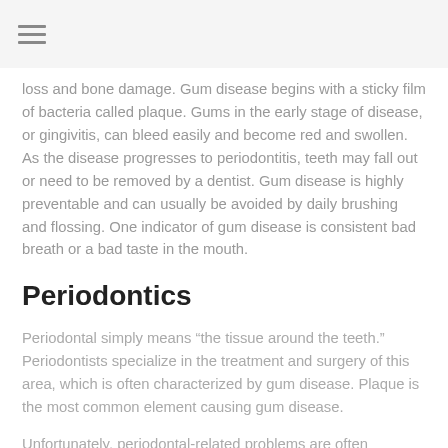loss and bone damage. Gum disease begins with a sticky film of bacteria called plaque. Gums in the early stage of disease, or gingivitis, can bleed easily and become red and swollen. As the disease progresses to periodontitis, teeth may fall out or need to be removed by a dentist. Gum disease is highly preventable and can usually be avoided by daily brushing and flossing. One indicator of gum disease is consistent bad breath or a bad taste in the mouth.
Periodontics
Periodontal simply means “the tissue around the teeth.” Periodontists specialize in the treatment and surgery of this area, which is often characterized by gum disease. Plaque is the most common element causing gum disease.
Unfortunately, periodontal-related problems are often discovered after they have persisted for an extended perio